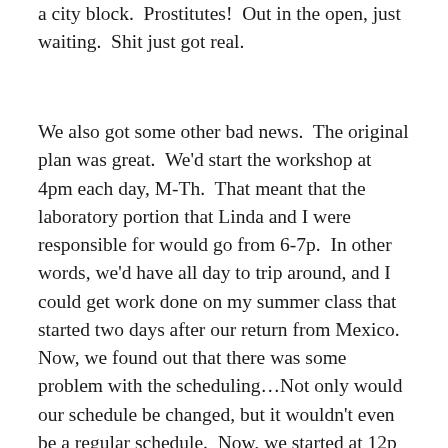a city block.  Prostitutes!  Out in the open, just waiting.  Shit just got real.
We also got some other bad news.  The original plan was great.  We'd start the workshop at 4pm each day, M-Th.  That meant that the laboratory portion that Linda and I were responsible for would go from 6-7p.  In other words, we'd have all day to trip around, and I could get work done on my summer class that started two days after our return from Mexico.  Now, we found out that there was some problem with the scheduling…Not only would our schedule be changed, but it wouldn't even be a regular schedule.  Now, we started at 12p on Monday and